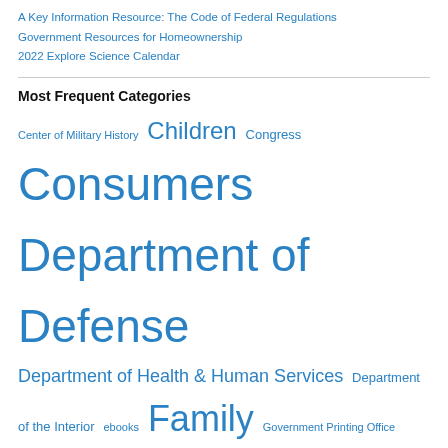A Key Information Resource: The Code of Federal Regulations
Government Resources for Homeownership
2022 Explore Science Calendar
Most Frequent Categories
Center of Military History  Children  Congress  Consumers  Department of Defense  Department of Health & Human Services  Department of the Interior  ebooks  Family  Government Printing Office (GPO)  Health care  Libraries  Military History  NASA  National Park Service  Travel and Tourism  U.S. Army  U.S. History  U.S. Navy
Most Frequent Tags